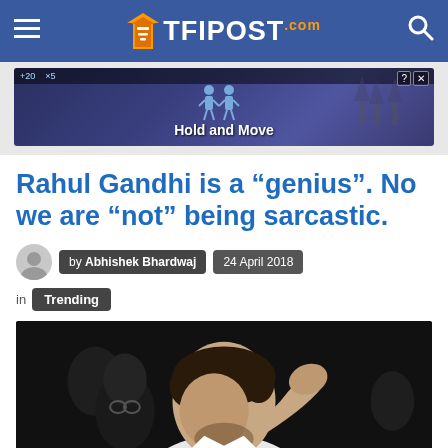TFIPOST.com
[Figure (screenshot): Advertisement banner showing a mobile game 'Hold and Move' with figures on a dark background]
Rahul Gandhi is a "genius". No we are "not" being sarcastic.
by Abhishek Bhardwaj | 24 April 2018
in Trending
[Figure (photo): Photo of Rahul Gandhi with hand on his head, wearing white clothes, other people visible in background]